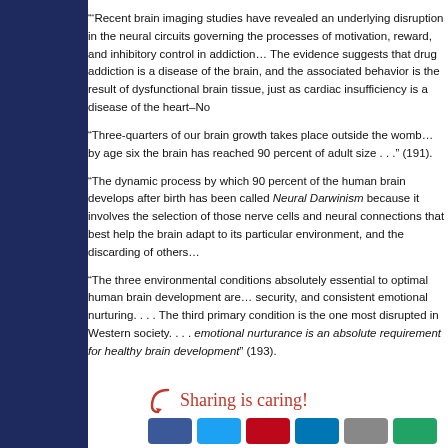“‘Recent brain imaging studies have revealed an underlying dis... processes of motivation, reward, and inhibitory control in addi... that drug addiction is a disease of the brain, and the associated... tissue, just as cardiac insufficiency is a disease of the heart–N...
“Three-quarters of our brain growth takes place outside the wo... brain has reached 90 percent of adult size . . .” (191).
“The dynamic process by which 90 percent of the human brain... Darwinism because it involves the selection of those nerve cel... adapt to its particular environment, and the discarding of others...
“The three environmental conditions absolutely essential to op... security, and consistent emotional nurturing. . . . The third prim... disrupted in Western society. . . . emotional nurturance is an ab... development” (193).
[Figure (other): Sharing is caring! text with curved arrow and social media share buttons (Facebook, Twitter, Pinterest, LinkedIn, and others)]